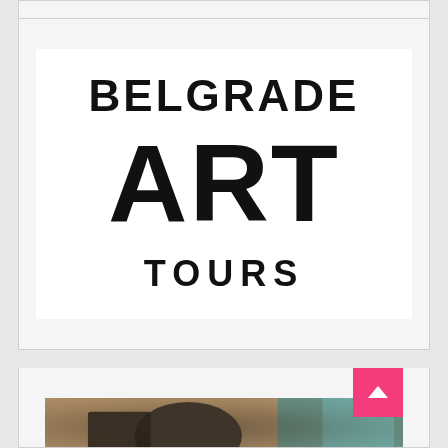[Figure (logo): Belgrade Art Tours logo — three lines: 'BELGRADE' in bold black at top, 'ART' in very large bold black in center, 'TOURS' in bold black with wide letter-spacing at bottom, all on white background inside a light gray card]
[Figure (photo): Partial view of a photograph showing what appears to be a dark sculptural object, a book or tablet, and teal/turquoise colored elements in the background. A pink 'back to top' button with an upward arrow is overlaid in the bottom right.]